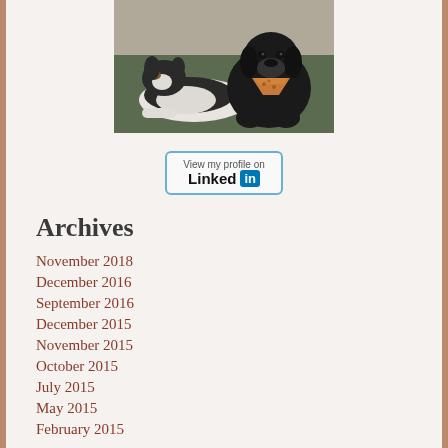[Figure (photo): Two dogs lying/sitting on a floor — one is a tri-color (black, white, tan) Australian Shepherd and the other is a large black dog wearing a bandana, photographed indoors.]
[Figure (logo): LinkedIn 'View my profile on LinkedIn' button badge with blue border and LinkedIn logo.]
Archives
November 2018
December 2016
September 2016
December 2015
November 2015
October 2015
July 2015
May 2015
February 2015